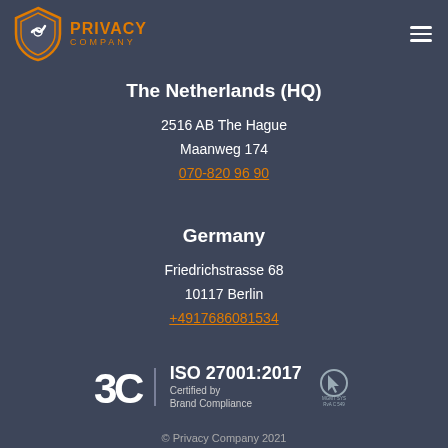[Figure (logo): Privacy Company logo with shield icon and orange text]
The Netherlands (HQ)
2516 AB The Hague
Maanweg 174
070-820 96 90
Germany
Friedrichstrasse 68
10117 Berlin
+4917686081534
[Figure (logo): ISO 27001:2017 Certified by Brand Compliance badge with RvA C 549 mark]
© Privacy Company 2021